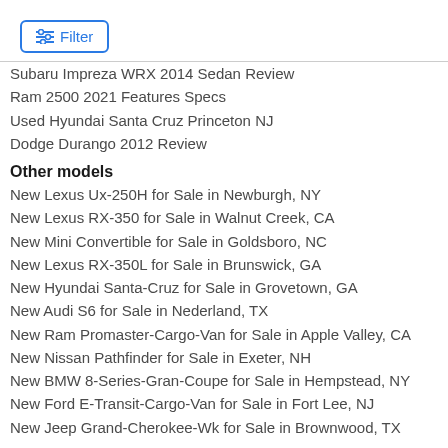[Figure (other): Filter button with sliders icon and blue border]
Subaru Impreza WRX 2014 Sedan Review
Ram 2500 2021 Features Specs
Used Hyundai Santa Cruz Princeton NJ
Dodge Durango 2012 Review
Other models
New Lexus Ux-250H for Sale in Newburgh, NY
New Lexus RX-350 for Sale in Walnut Creek, CA
New Mini Convertible for Sale in Goldsboro, NC
New Lexus RX-350L for Sale in Brunswick, GA
New Hyundai Santa-Cruz for Sale in Grovetown, GA
New Audi S6 for Sale in Nederland, TX
New Ram Promaster-Cargo-Van for Sale in Apple Valley, CA
New Nissan Pathfinder for Sale in Exeter, NH
New BMW 8-Series-Gran-Coupe for Sale in Hempstead, NY
New Ford E-Transit-Cargo-Van for Sale in Fort Lee, NJ
New Jeep Grand-Cherokee-Wk for Sale in Brownwood, TX